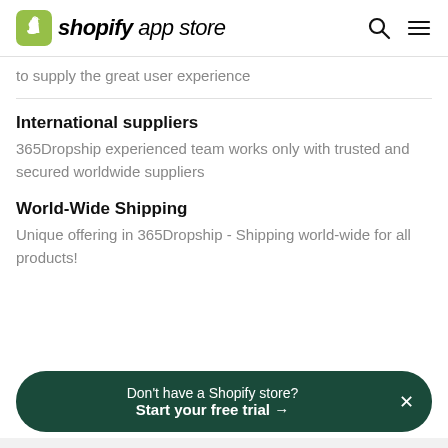shopify app store
to supply the great user experience
International suppliers
365Dropship experienced team works only with trusted and secured worldwide suppliers
World-Wide Shipping
Unique offering in 365Dropship - Shipping world-wide for all products!
Don't have a Shopify store? Start your free trial →